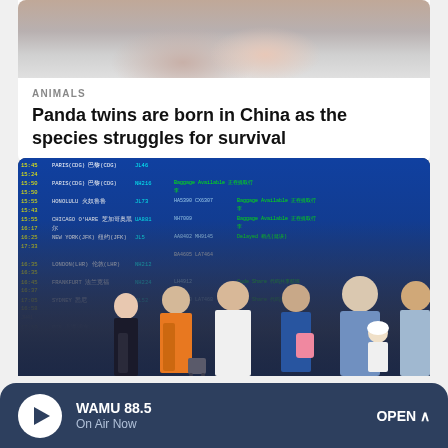[Figure (photo): Close-up photo of a panda, showing fur texture in pink/gray tones, cropped at top of card]
ANIMALS
Panda twins are born in China as the species struggles for survival
[Figure (photo): Airport departure board showing flight listings in Japanese and English with yellow/green text on blue background; people wearing masks stand in front of the board]
WAMU 88.5
On Air Now
OPEN ^